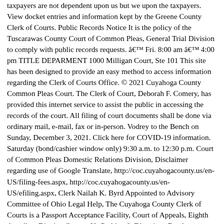taxpayers are not dependent upon us but we upon the taxpayers. View docket entries and information kept by the Greene County Clerk of Courts. Public Records Notice It is the policy of the Tuscarawas County Court of Common Pleas, General Trial Division to comply with public records requests. â Fri. 8:00 am â 4:00 pm TITLE DEPARMENT 1000 Milligan Court, Ste 101 This site has been designed to provide an easy method to access information regarding the Clerk of Courts Office. © 2021 Cuyahoga County Common Pleas Court. The Clerk of Court, Deborah F. Comery, has provided this internet service to assist the public in accessing the records of the court. All filing of court documents shall be done via ordinary mail, e-mail, fax or in-person. Vodrey to the Bench on Sunday, December 3, 2021. Click here for COVID-19 information. Saturday (bond/cashier window only) 9:30 a.m. to 12:30 p.m. Court of Common Pleas Domestic Relations Division, Disclaimer regarding use of Google Translate, http://coc.cuyahogacounty.us/en-US/filing-fees.aspx, http://coc.cuyahogacounty.us/en-US/efiling.aspx, Clerk Nailah K. Byrd Appointed to Advisory Committee of Ohio Legal Help, The Cuyahoga County Clerk of Courts is a Passport Acceptance Facility, Court of Appeals, Eighth Appellate District. Contact Us Parking & Directions Employment News Download Adobe Acrobat Privacy Policy. Welcome to the court case management system of the Ashtabula County Courts. Below you will find a collection of offline providers for Ohio State County of Cuyahoga City of Cleveland Marriage records, these are both governmental